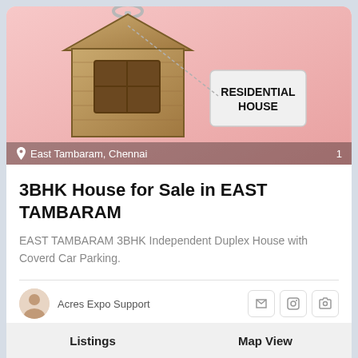[Figure (photo): Photo of a wooden house-shaped keychain on a pink background with a tag reading RESIDENTIAL HOUSE. Location overlay reads 'East Tambaram, Chennai' with a pin icon and the number 1.]
3BHK House for Sale in EAST TAMBARAM
EAST TAMBARAM 3BHK Independent Duplex House with Coverd Car Parking.
Acres Expo Support
Listings   Map View